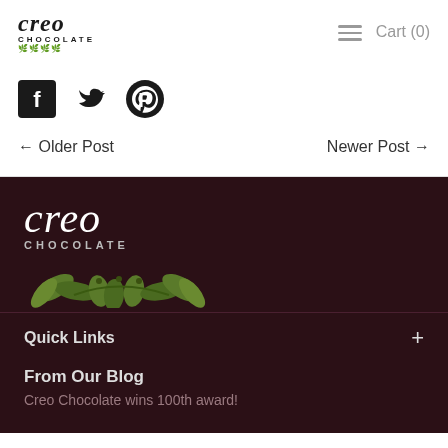creo CHOCOLATE | Cart (0)
[Figure (logo): Social media icons: Facebook, Twitter, Pinterest]
← Older Post    Newer Post →
[Figure (logo): Creo Chocolate footer logo with cacao leaves illustration]
Quick Links +
From Our Blog
Creo Chocolate wins 100th award!